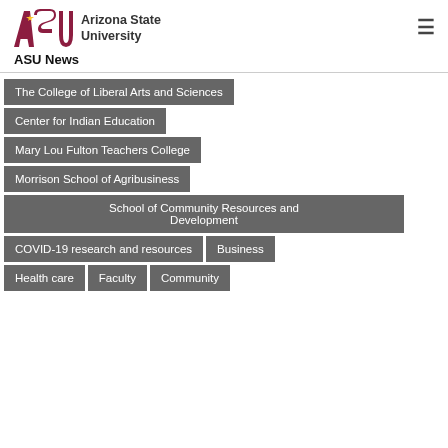ASU News — Arizona State University
The College of Liberal Arts and Sciences
Center for Indian Education
Mary Lou Fulton Teachers College
Morrison School of Agribusiness
School of Community Resources and Development
COVID-19 research and resources
Business
Health care
Faculty
Community